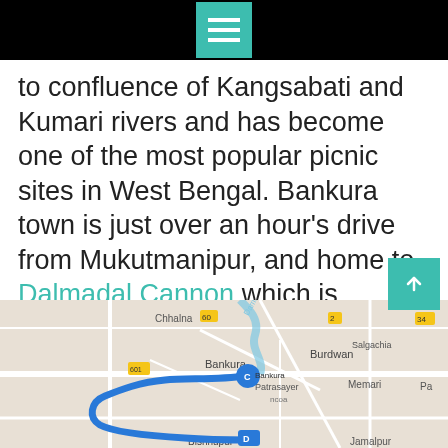to confluence of Kangsabati and Kumari rivers and has become one of the most popular picnic sites in West Bengal. Bankura town is just over an hour's drive from Mukutmanipur, and home to Dalmadal Cannon which is probably one of the largest Canons ever built in India. The whole region of Bankura and Bisgnupur is spread over with over a dozen 17th and 18th-century Terracotta temples. Most famous among these are Rasmancha and Madanmohan Temples.
[Figure (map): Google map showing Bankura area with a blue route marked from Bankura to Bishnupur, with surrounding towns like Burdwan, Patrasayer, Chhalna visible.]